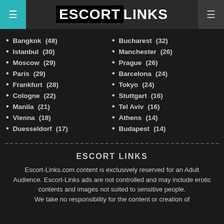ESCORT LINKS
Bangkok (48)
Istanbul (30)
Moscow (29)
Paris (29)
Frankfurt (28)
Cologne (22)
Manila (21)
Vienna (18)
Duesseldorf (17)
Bucharest (32)
Manchester (26)
Prague (26)
Barcelona (24)
Tokyo (24)
Stuttgart (16)
Tel Aviv (16)
Athens (14)
Budapest (14)
ESCORT LINKS
Escort-Links.com content is exclusively reserved for an Adult Audience. Escort-Links ads are not controlled and may include erotic contents and images not suited to sensitive people. We take no responsibility for the content or creation of